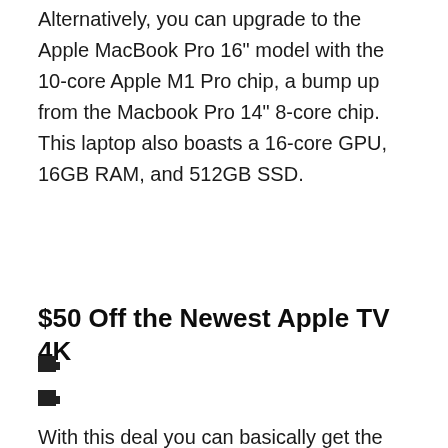Alternatively, you can upgrade to the Apple MacBook Pro 16" model with the 10-core Apple M1 Pro chip, a bump up from the Macbook Pro 14" 8-core chip. This laptop also boasts a 16-core GPU, 16GB RAM, and 512GB SSD.
$50 Off the Newest Apple TV 4K
[Figure (other): Small thumbnail image placeholder]
[Figure (other): Small thumbnail image placeholder]
With this deal you can basically get the